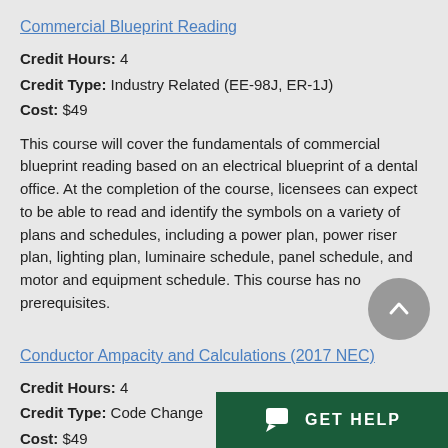Commercial Blueprint Reading
Credit Hours: 4
Credit Type: Industry Related (EE-98J, ER-1J)
Cost: $49
This course will cover the fundamentals of commercial blueprint reading based on an electrical blueprint of a dental office. At the completion of the course, licensees can expect to be able to read and identify the symbols on a variety of plans and schedules, including a power plan, power riser plan, lighting plan, luminaire schedule, panel schedule, and motor and equipment schedule. This course has no prerequisites.
Conductor Ampacity and Calculations (2017 NEC)
Credit Hours: 4
Credit Type: Code Change
Cost: $49
This course covers selecting condu…